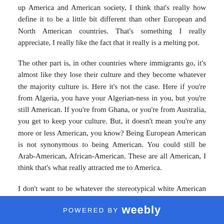up America and American society, I think that's really how define it to be a little bit different than other European and North American countries. That's something I really appreciate, I really like the fact that it really is a melting pot.
The other part is, in other countries where immigrants go, it's almost like they lose their culture and they become whatever the majority culture is. Here it's not the case. Here if you're from Algeria, you have your Algerian-ness in you, but you're still American. If you're from Ghana, or you're from Australia, you get to keep your culture. But, it doesn't mean you're any more or less American, you know? Being European American is not synonymous to being American. You could still be Arab-American, African-American. These are all American, I think that's what really attracted me to America.
I don't want to be whatever the stereotypical white American is, what Hollywood or the media portrays that to be. I don't ever think that being Arab or being Muslim makes me any more or less
POWERED BY weebly